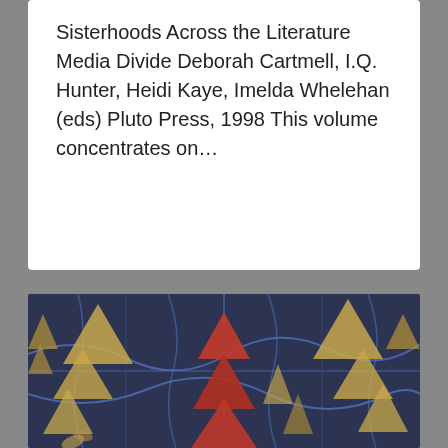Sisterhoods Across the Literature Media Divide Deborah Cartmell, I.Q. Hunter, Heidi Kaye, Imelda Whelehan (eds) Pluto Press, 1998 This volume concentrates on…
[Figure (photo): Book cover photo showing a textile/fabric art piece with gold, red triangular shapes and blue geometric patterns on a dark navy background. Overlaid italic white text reads 'Edited by Rebecca Munford'.]